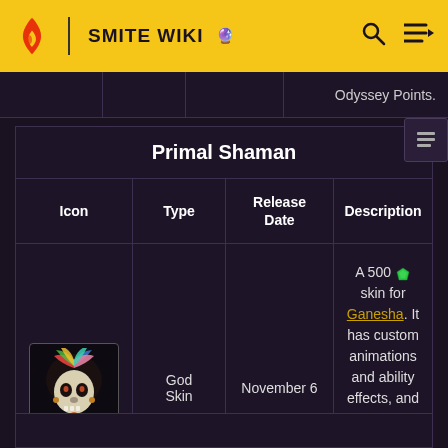SMITE WIKI
| Icon | Type | Release Date | Description |
| --- | --- | --- | --- |
| [icon] | God Skin | November 6 | A 500 [gem] skin for Ganesha. It has custom animations and ability effects, and custom voicelines. Grants 3500 Odyssey Points. |